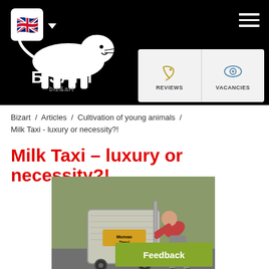Bizart website header with logo, language selector, hamburger menu, and Reviews/Vacancies panel
Bizart / Articles / Cultivation of young animals / Milk Taxi - luxury or necessity?!
Milk Taxi – luxury or necessity?!
[Figure (photo): A person bending over to work with a large stainless steel milk taxi cart with wheels, outdoors. The cart has a yellow label reading 'Молоко Такси' or similar.]
Feedback